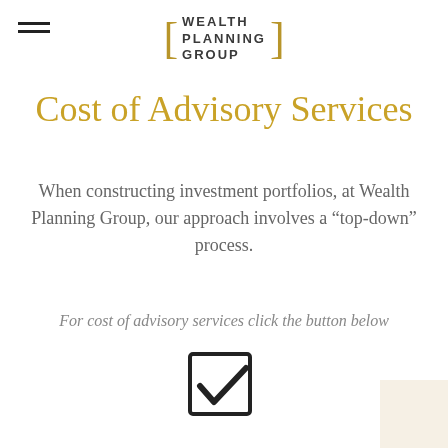WEALTH PLANNING GROUP
Cost of Advisory Services
When constructing investment portfolios, at Wealth Planning Group, our approach involves a “top-down” process.
For cost of advisory services click the button below
[Figure (illustration): A checkbox icon with a checkmark inside a square, drawn in dark outline style.]